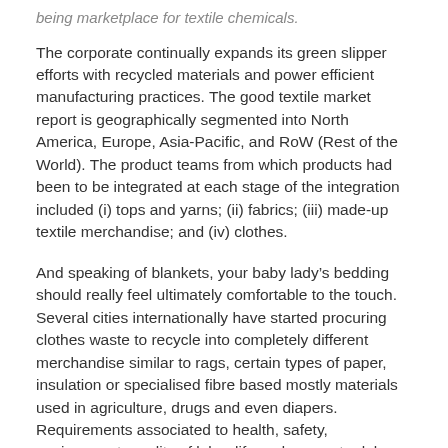being marketplace for textile chemicals.
The corporate continually expands its green slipper efforts with recycled materials and power efficient manufacturing practices. The good textile market report is geographically segmented into North America, Europe, Asia-Pacific, and RoW (Rest of the World). The product teams from which products had been to be integrated at each stage of the integration included (i) tops and yarns; (ii) fabrics; (iii) made-up textile merchandise; and (iv) clothes.
And speaking of blankets, your baby lady’s bedding should really feel ultimately comfortable to the touch. Several cities internationally have started procuring clothes waste to recycle into completely different merchandise similar to rags, certain types of paper, insulation or specialised fibre based mostly materials used in agriculture, drugs and even diapers. Requirements associated to health, safety, environment, quality of labor life and youngster labour would acquire additional momentum in international commerce in textiles and clothing.